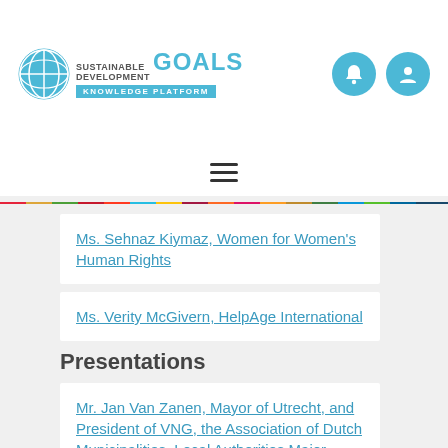[Figure (logo): UN Sustainable Development Goals Knowledge Platform logo with globe icon, SDG wordmark, and cyan KNOWLEDGE PLATFORM badge]
[Figure (other): Two circular cyan icon buttons (bell/notification and user/profile) in the header]
[Figure (other): Hamburger menu icon (three horizontal lines)]
[Figure (other): Multicolor rainbow horizontal bar representing the 17 SDG goal colors]
Ms. Sehnaz Kiymaz, Women for Women's Human Rights
Ms. Verity McGivern, HelpAge International
Presentations
Mr. Jan Van Zanen, Mayor of Utrecht, and President of VNG, the Association of Dutch Municipalities, Local Authorities Major Group
Mr. Keikabile Mogodio, Indigenous Peoples Major Group